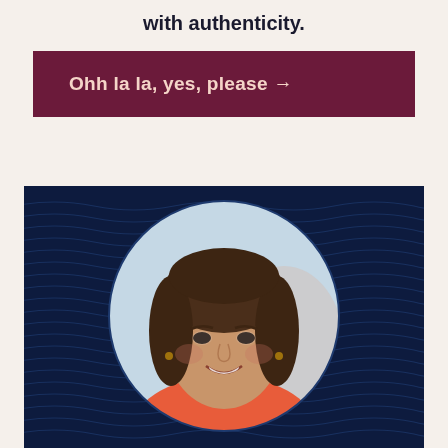with authenticity.
Ohh la la, yes, please →
[Figure (photo): Circular portrait photo of a smiling woman with brown hair, wearing a coral/orange top, set against a dark navy blue background with wavy line patterns.]